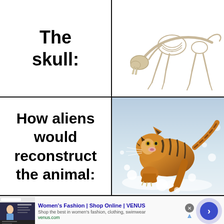The skull:
[Figure (illustration): Fossil skeleton of a large saber-toothed cat in a prowling pose, shown against white background]
How aliens would reconstruct the animal:
[Figure (photo): A tiger cub running and leaping through snow, with golden fur and black stripes, dynamic action shot]
[Figure (screenshot): Advertisement bar: Women's Fashion | Shop Online | VENUS - Shop the best in women's fashion, clothing, swimwear - venus.com]